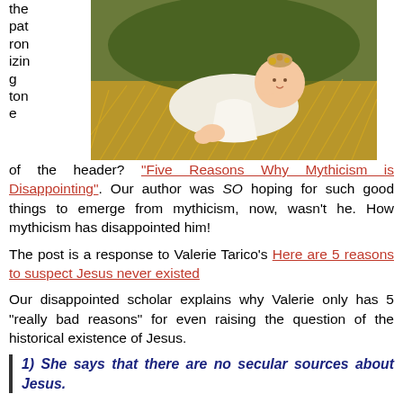[Figure (photo): Painting of baby Jesus lying in a manger on straw, dressed in white.]
the patronizing tone of the header? “Five Reasons Why Mythicism is Disappointing”. Our author was SO hoping for such good things to emerge from mythicism, now, wasn’t he. How mythicism has disappointed him!
The post is a response to Valerie Tarico's Here are 5 reasons to suspect Jesus never existed
Our disappointed scholar explains why Valerie only has 5 “really bad reasons” for even raising the question of the historical existence of Jesus.
1) She says that there are no secular sources about Jesus.